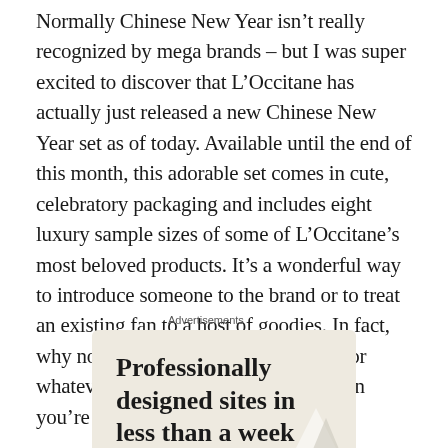Normally Chinese New Year isn't really recognized by mega brands – but I was super excited to discover that L'Occitane has actually just released a new Chinese New Year set as of today. Available until the end of this month, this adorable set comes in cute, celebratory packaging and includes eight luxury sample sizes of some of L'Occitane's most beloved products. It's a wonderful way to introduce someone to the brand or to treat an existing fan to a host of goodies. In fact, why not pick one up as a hostess gift for whatever Chinese New Year celebration you're headed off to next week?
Advertisements
[Figure (other): Advertisement banner with beige/cream background showing the text 'Professionally designed sites in less than a week' in large serif bold font, with a decorative geometric shape in the bottom right corner.]